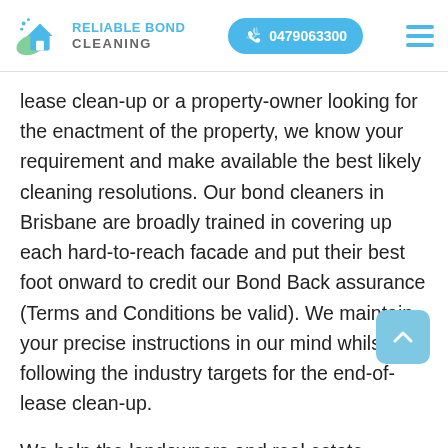RELIABLE BOND CLEANING | 0479063300
lease clean-up or a property-owner looking for the enactment of the property, we know your requirement and make available the best likely cleaning resolutions. Our bond cleaners in Brisbane are broadly trained in covering up each hard-to-reach facade and put their best foot onward to credit our Bond Back assurance (Terms and Conditions be valid). We maintain your precise instructions in our mind whilst following the industry targets for the end-of-lease clean-up.
We help the landowners and real estate representatives in preparing the possessions for rent for the new occupant. Our bond cleaners are